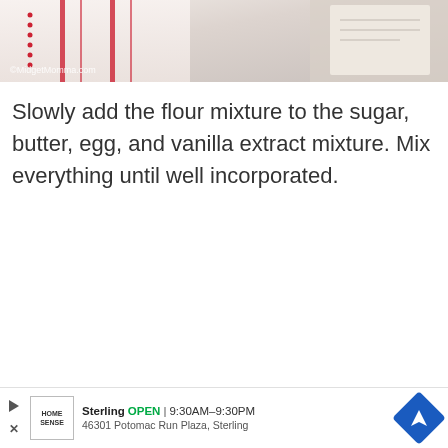[Figure (photo): Top portion of a baking photo showing a red and white striped cloth/kitchen towel with red dot trim, and what appears to be a notebook or journal in the upper right corner. Watermark reads ©MidgetMomma.com]
Slowly add the flour mixture to the sugar, butter, egg, and vanilla extract mixture. Mix everything until well incorporated.
[Figure (other): Advertisement banner for Home Sense store. Shows Home Sense logo box, text 'Sterling OPEN | 9:30AM–9:30PM' and '46301 Potomac Run Plaza, Sterling' with a blue navigation/directions icon.]